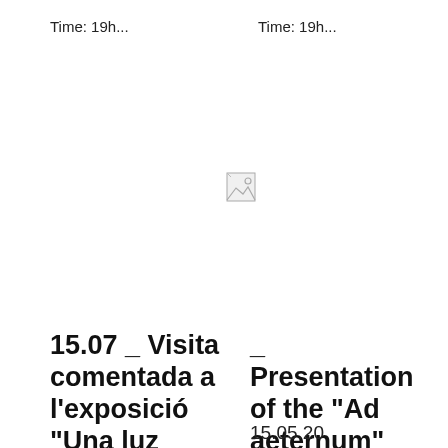Time: 19h...
Time: 19h...
[Figure (other): Small broken/placeholder image icon]
15.07 _ Visita comentada a l’exposició “Una luz cegadora”, Bombon Projects
_ Presentation of the “Ad aeternum” exhibition, Sala Parés
15.05.20
15.05.20